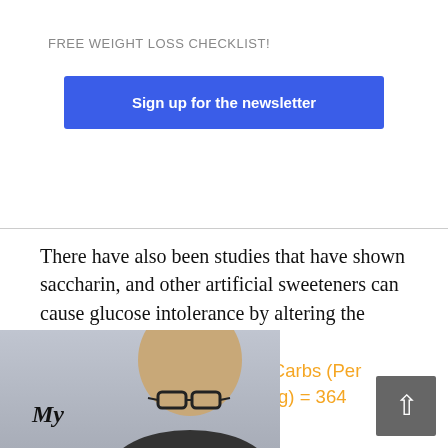FREE WEIGHT LOSS CHECKLIST!
Sign up for the newsletter
There have also been studies that have shown saccharin, and other artificial sweeteners can cause glucose intolerance by altering the intestinal microbiota.11
Saccharin GI =variable, Net Carbs (Per 100g) =94, Calories (Per 100g) = 364
[Figure (photo): Photo of a bald man with glasses, with text 'My' visible at bottom left of image]